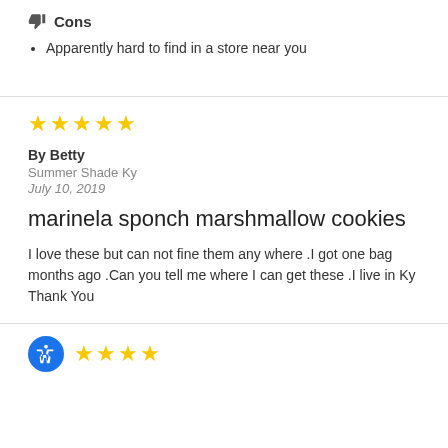Cons
Apparently hard to find in a store near you
[Figure (other): 5 gold stars rating]
By Betty
Summer Shade Ky
July 10, 2019
marinela sponch marshmallow cookies
I love these but can not fine them any where .I got one bag months ago .Can you tell me where I can get these .I live in Ky Thank You
[Figure (other): 4 gold stars rating with accessibility button]